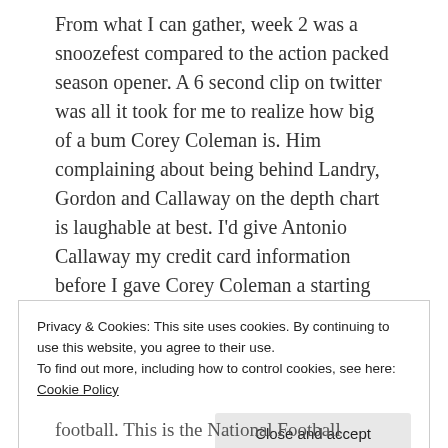From what I can gather, week 2 was a snoozefest compared to the action packed season opener. A 6 second clip on twitter was all it took for me to realize how big of a bum Corey Coleman is. Him complaining about being behind Landry, Gordon and Callaway on the depth chart is laughable at best. I'd give Antonio Callaway my credit card information before I gave Corey Coleman a starting gig on this squad.
Privacy & Cookies: This site uses cookies. By continuing to use this website, you agree to their use.
To find out more, including how to control cookies, see here: Cookie Policy
football. This is the National Football League!